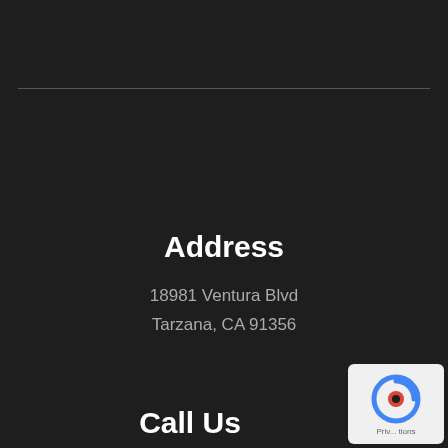Address
18981 Ventura Blvd
Tarzana, CA 91356
Call Us
[Figure (logo): reCAPTCHA badge with blue arrow logo and privacy terms text]